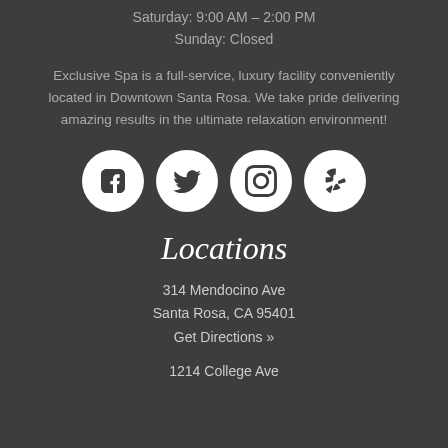Saturday: 9:00 AM – 2:00 PM
Sunday: Closed
Exclusive Spa is a full-service, luxury facility conveniently located in Downtown Santa Rosa. We take pride delivering amazing results in the ultimate relaxation environment!
[Figure (infographic): Four white circular social media icons in a row: Facebook (f), Twitter (bird), Instagram (camera), Yelp (star burst)]
Locations
314 Mendocino Ave
Santa Rosa, CA 95401
Get Directions »
1214 College Ave